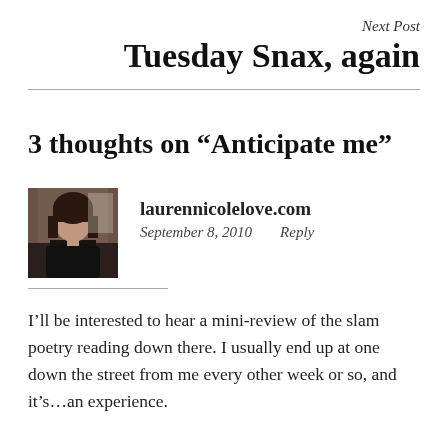Next Post
Tuesday Snax, again
3 thoughts on “Anticipate me”
laurennicolelove.com
September 8, 2010   Reply
I’ll be interested to hear a mini-review of the slam poetry reading down there. I usually end up at one down the street from me every other week or so, and it’s…an experience.